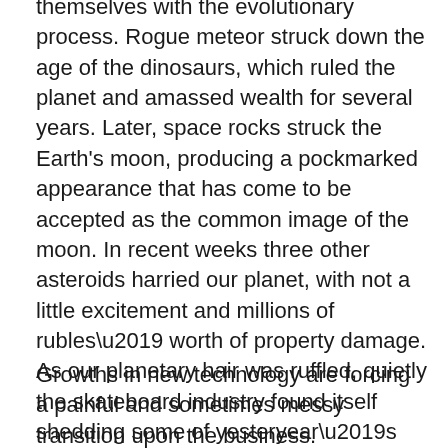themselves with the evolutionary process. Rogue meteor struck down the age of the dinosaurs, which ruled the planet and amassed wealth for several years. Later, space rocks struck the Earth's moon, producing a pockmarked appearance that has come to be accepted as the common image of the moon. In recent weeks three other asteroids harried our planet, with not a little excitement and millions of rubles' worth of property damage. As our planetary hair was ruffled, quietly the skateboard industry found itself shedding some of yesteryear's trappings and business motifs. Coincidence? Possibly, but in this daring age we bear in mind the timeworn slogan, “in space there are no coincidences.” It is important to note that the earth travels in space.
Growths in new technology are forcing a painful and sometimes messy transition upon the business.